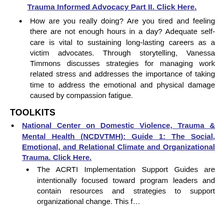Trauma Informed Advocacy Part II. Click Here.
How are you really doing? Are you tired and feeling there are not enough hours in a day? Adequate self-care is vital to sustaining long-lasting careers as a victim advocates. Through storytelling, Vanessa Timmons discusses strategies for managing work related stress and addresses the importance of taking time to address the emotional and physical damage caused by compassion fatigue.
TOOLKITS
National Center on Domestic Violence, Trauma & Mental Health (NCDVTMH): Guide 1: The Social, Emotional, and Relational Climate and Organizational Trauma. Click Here.
The ACRTI Implementation Support Guides are intentionally focused toward program leaders and contain resources and strategies to support organizational change. This f...